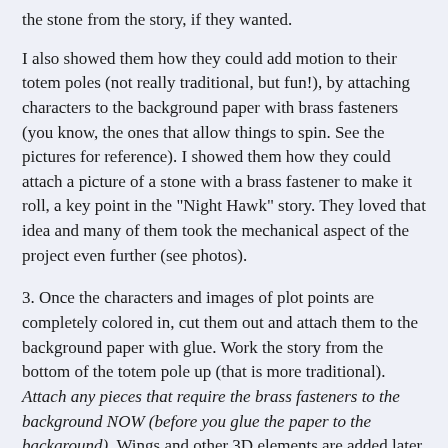the stone from the story, if they wanted.
I also showed them how they could add motion to their totem poles (not really traditional, but fun!), by attaching characters to the background paper with brass fasteners (you know, the ones that allow things to spin. See the pictures for reference). I showed them how they could attach a picture of a stone with a brass fastener to make it roll, a key point in the "Night Hawk" story. They loved that idea and many of them took the mechanical aspect of the project even further (see photos).
3. Once the characters and images of plot points are completely colored in, cut them out and attach them to the background paper with glue. Work the story from the bottom of the totem pole up (that is more traditional). Attach any pieces that require the brass fasteners to the background NOW (before you glue the paper to the background). Wings and other 3D elements are added later, in step 5.
4. Once all of the pieces are on the background, turn the entire thing over and spread glue on the back (we used a glue stick, but white school glue would work). Roll it around the paper towel roll